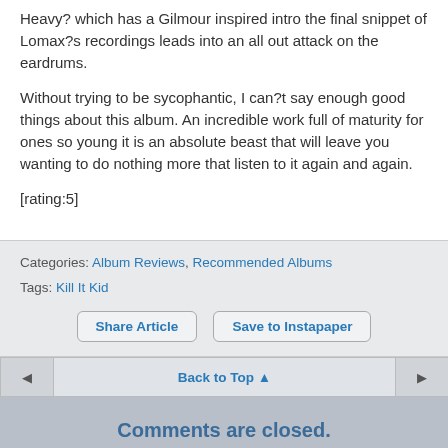Heavy? which has a Gilmour inspired intro the final snippet of Lomax?s recordings leads into an all out attack on the eardrums.
Without trying to be sycophantic, I can?t say enough good things about this album. An incredible work full of maturity for ones so young it is an absolute beast that will leave you wanting to do nothing more that listen to it again and again.
[rating:5]
Categories: Album Reviews, Recommended Albums
Tags: Kill It Kid
Share Article
Save to Instapaper
Back to Top ▲
Comments are closed.